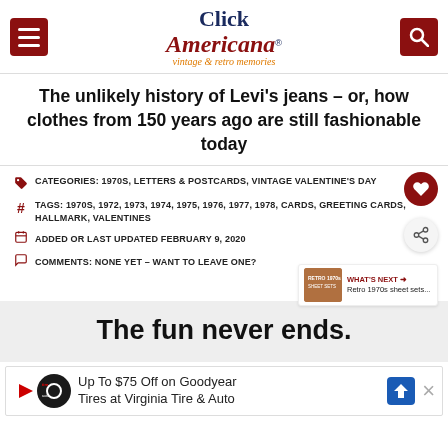Click Americana – vintage & retro memories
The unlikely history of Levi's jeans – or, how clothes from 150 years ago are still fashionable today
CATEGORIES: 1970S, LETTERS & POSTCARDS, VINTAGE VALENTINE'S DAY
TAGS: 1970S, 1972, 1973, 1974, 1975, 1976, 1977, 1978, CARDS, GREETING CARDS, HALLMARK, VALENTINES
ADDED OR LAST UPDATED FEBRUARY 9, 2020
COMMENTS: NONE YET – WANT TO LEAVE ONE?
WHAT'S NEXT → Retro 1970s sheet sets...
The fun never ends.
Up To $75 Off on Goodyear Tires at Virginia Tire & Auto